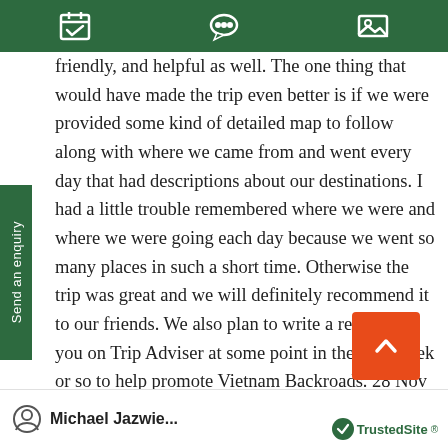[Figure (screenshot): Green navigation top bar with calendar, chat bubble, and image icons]
friendly, and helpful as well. The one thing that would have made the trip even better is if we were provided some kind of detailed map to follow along with where we came from and went every day that had descriptions about our destinations. I had a little trouble remembered where we were and where we were going each day because we went so many places in such a short time. Otherwise the trip was great and we will definitely recommend it to our friends. We also plan to write a review for you on Trip Adviser at some point in the next week or so to help promote Vietnam Backroads. 28 Nov 2011
Michael Jazwie... TrustedSite